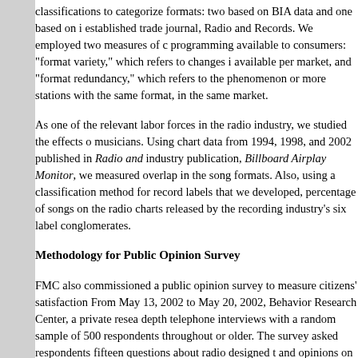classifications to categorize formats: two based on BIA data and one based on i established trade journal, Radio and Records. We employed two measures of c programming available to consumers: "format variety," which refers to changes i available per market, and "format redundancy," which refers to the phenomenon or more stations with the same format, in the same market.
As one of the relevant labor forces in the radio industry, we studied the effects o musicians. Using chart data from 1994, 1998, and 2002 published in Radio and industry publication, Billboard Airplay Monitor, we measured overlap in the song formats. Also, using a classification method for record labels that we developed, percentage of songs on the radio charts released by the recording industry's six label conglomerates.
Methodology for Public Opinion Survey
FMC also commissioned a public opinion survey to measure citizens' satisfaction From May 13, 2002 to May 20, 2002, Behavior Research Center, a private resea depth telephone interviews with a random sample of 500 respondents throughout or older. The survey asked respondents fifteen questions about radio designed t and opinions on available programming and their views on issues such as radio "pay-for-play" practices.
Based on data from the total sample, one can say with 95 percent confidence th attributable to sampling and other random effects is 4.5 percentage points.